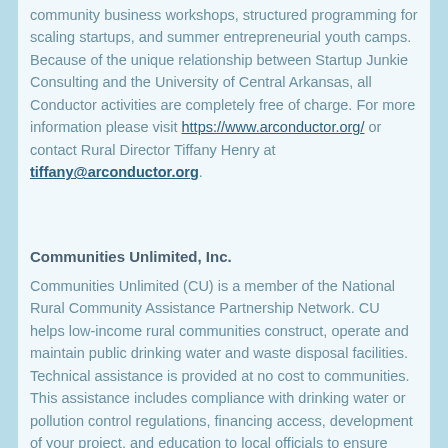community business workshops, structured programming for scaling startups, and summer entrepreneurial youth camps. Because of the unique relationship between Startup Junkie Consulting and the University of Central Arkansas, all Conductor activities are completely free of charge. For more information please visit https://www.arconductor.org/ or contact Rural Director Tiffany Henry at tiffany@arconductor.org.
Communities Unlimited, Inc.
Communities Unlimited (CU) is a member of the National Rural Community Assistance Partnership Network. CU helps low-income rural communities construct, operate and maintain public drinking water and waste disposal facilities. Technical assistance is provided at no cost to communities. This assistance includes compliance with drinking water or pollution control regulations, financing access, development of your project, and education to local officials to ensure